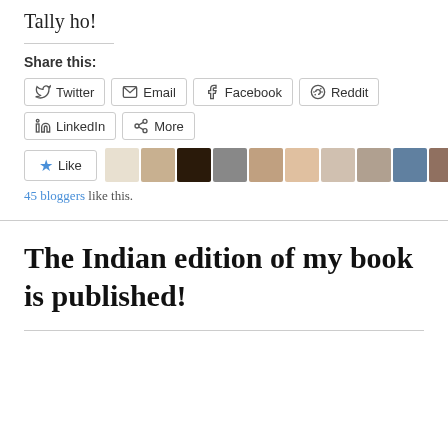Tally ho!
Share this:
Twitter  Email  Facebook  Reddit  LinkedIn  More
[Figure (other): Like button with star icon and 10 blogger avatar thumbnails. Text: 45 bloggers like this.]
The Indian edition of my book is published!